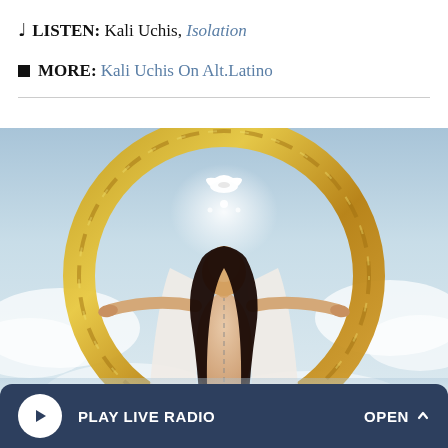♩ LISTEN: Kali Uchis, Isolation
■ MORE: Kali Uchis On Alt.Latino
[Figure (photo): Album cover art for Kali Uchis 'Isolation' — a woman with long dark hair and arms outstretched stands inside a large circular gold chain ring, against a heavenly sky background with clouds and a white dove above.]
PLAY LIVE RADIO   OPEN